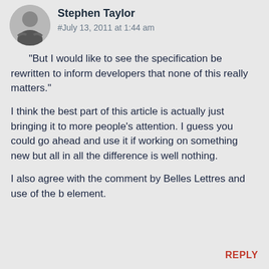[Figure (photo): Circular avatar photo of a man with arms crossed, in black and white]
Stephen Taylor
#July 13, 2011 at 1:44 am
“But I would like to see the specification be rewritten to inform developers that none of this really matters.”
I think the best part of this article is actually just bringing it to more people’s attention. I guess you could go ahead and use it if working on something new but all in all the difference is well nothing.
I also agree with the comment by Belles Lettres and use of the b element.
REPLY